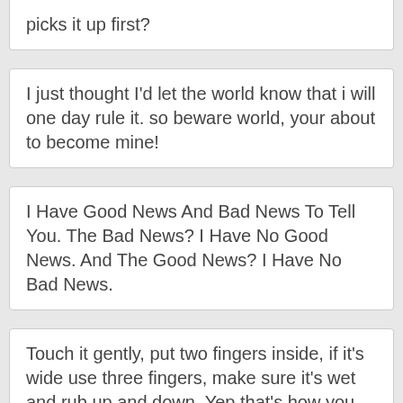picks it up first?
I just thought I'd let the world know that i will one day rule it. so beware world, your about to become mine!
I Have Good News And Bad News To Tell You. The Bad News? I Have No Good News. And The Good News? I Have No Bad News.
Touch it gently, put two fingers inside, if it's wide use three fingers, make sure it's wet and rub up and down. Yep that's how you wash a cup.